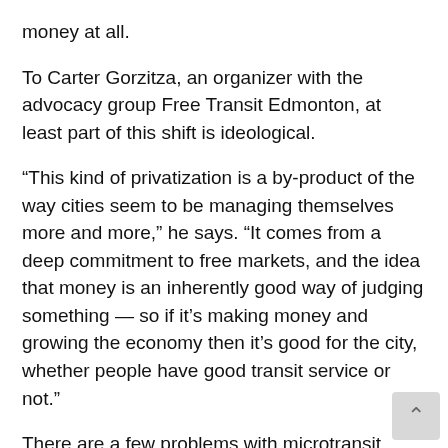money at all.
To Carter Gorzitza, an organizer with the advocacy group Free Transit Edmonton, at least part of this shift is ideological.
“This kind of privatization is a by-product of the way cities seem to be managing themselves more and more,” he says. “It comes from a deep commitment to free markets, and the idea that money is an inherently good way of judging something — so if it’s making money and growing the economy then it’s good for the city, whether people have good transit service or not.”
There are a few problems with microtransit, mechanically speaking: because it responds to individual requests as opposed to running on a fixed route with multiple stops, each vehicle carries much fewer people than city buses